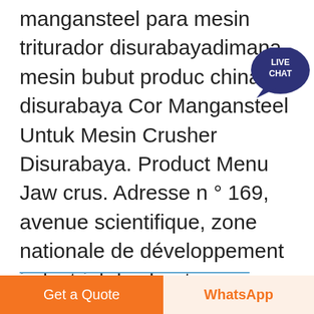mangansteel para mesin triturador disurabayadimana mesin bubut produc china disurabaya Cor Mangansteel Untuk Mesin Crusher Disurabaya. Product Menu Jaw crus. Adresse n ° 169, avenue scientifique, zone nationale de développement industriel des hautes technologies, Zhengzhou
[Figure (illustration): Live Chat speech bubble icon with dark blue color and white text reading LIVE CHAT]
Chatear en línea
Get a Quote
WhatsApp